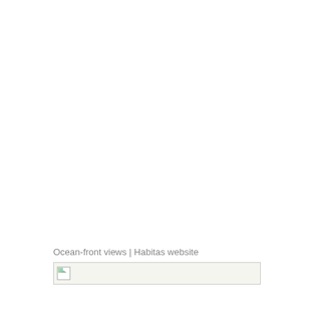Ocean-front views | Habitas website
[Figure (photo): Broken/missing image placeholder below caption text 'Ocean-front views | Habitas website']